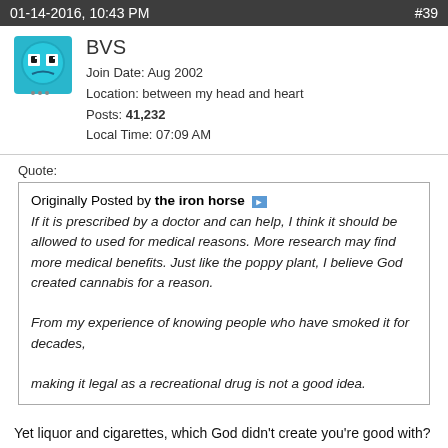01-14-2016, 10:43 PM   #39
BVS
Join Date: Aug 2002
Location: between my head and heart
Posts: 41,232
Local Time: 07:09 AM
Quote:
Originally Posted by the iron horse
If it is prescribed by a doctor and can help, I think it should be allowed to used for medical reasons. More research may find more medical benefits. Just like the poppy plant, I believe God created cannabis for a reason.

From my experience of knowing people who have smoked it for decades,

making it legal as a recreational drug is not a good idea.
Yet liquor and cigarettes, which God didn't create you're good with? Your priorities and principles are all screwed up.